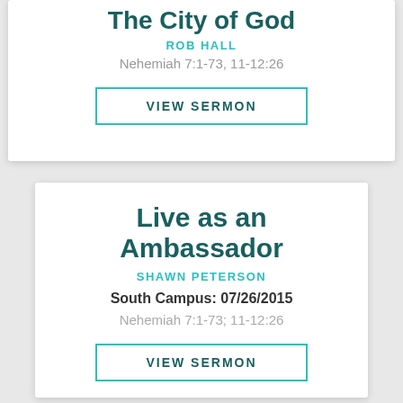The City of God
ROB HALL
Nehemiah 7:1-73, 11-12:26
VIEW SERMON
Live as an Ambassador
SHAWN PETERSON
South Campus: 07/26/2015
Nehemiah 7:1-73; 11-12:26
VIEW SERMON